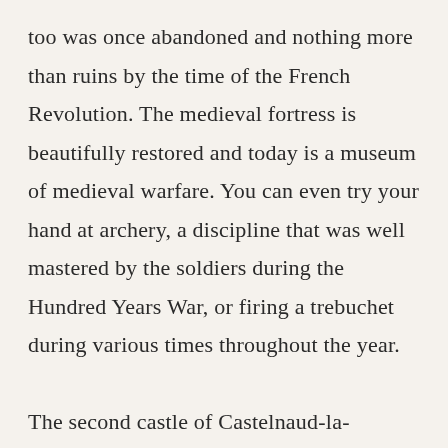too was once abandoned and nothing more than ruins by the time of the French Revolution. The medieval fortress is beautifully restored and today is a museum of medieval warfare. You can even try your hand at archery, a discipline that was well mastered by the soldiers during the Hundred Years War, or firing a trebuchet during various times throughout the year.

The second castle of Castelnaud-la-Chapelle is Château des Milandes. It was built in 1489 by François de Caumont, the